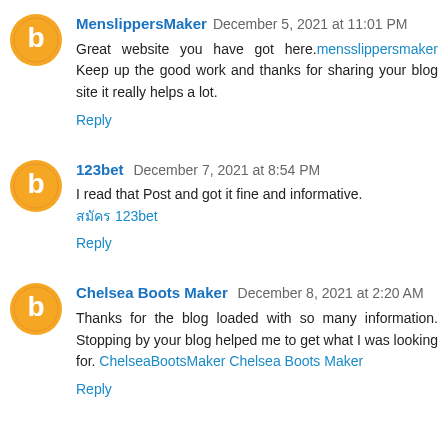MenslippersMaker  December 5, 2021 at 11:01 PM
Great website you have got here. mensslippersmaker Keep up the good work and thanks for sharing your blog site it really helps a lot.
Reply
123bet  December 7, 2021 at 8:54 PM
I read that Post and got it fine and informative.
สมัคร 123bet
Reply
Chelsea Boots Maker  December 8, 2021 at 2:20 AM
Thanks for the blog loaded with so many information. Stopping by your blog helped me to get what I was looking for. ChelseaBootsMaker Chelsea Boots Maker
Reply